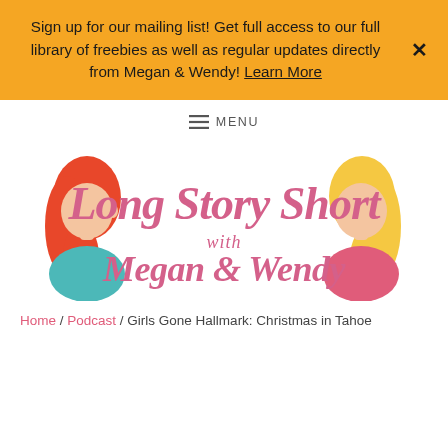Sign up for our mailing list! Get full access to our full library of freebies as well as regular updates directly from Megan & Wendy! Learn More
≡ MENU
[Figure (logo): Long Story Short with Megan & Wendy podcast logo with two illustrated women facing each other and stylized script text]
Home / Podcast / Girls Gone Hallmark: Christmas in Tahoe